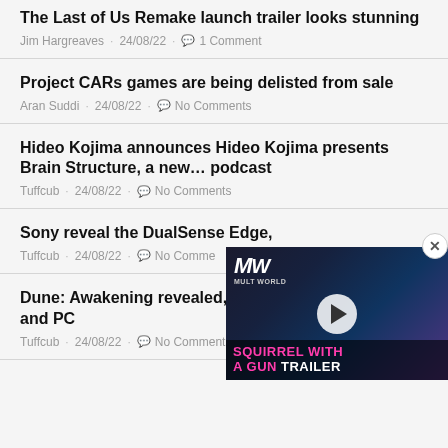The Last of Us Remake launch trailer looks stunning
Jim Hargreaves · 24/08/22 · 1 Comment
Project CARs games are being delisted from sale
Aran Suddi · 24/08/22 · No Comments
Hideo Kojima announces Hideo Kojima presents Brain Structure, a new… podcast
Tuffcub · 24/08/22 · No Comments
Sony reveal the DualSense Edge,
Tuffcub · 24/08/22 · No Comme
[Figure (screenshot): Video player overlay showing MW logo and SQUIRREL WITH A GUN TRAILER text with play button]
Dune: Awakening revealed, an op and PC
Tuffcub · 24/08/22 · No Comments